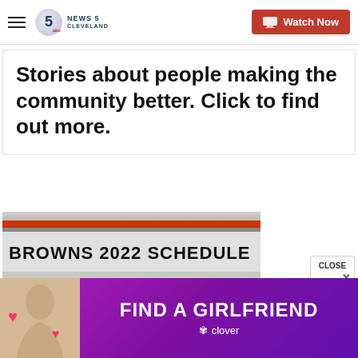News 5 Cleveland — Watch Now
Stories about people making the community better. Click to find out more.
[Figure (photo): Browns 2022 Schedule graphic with orange and grey stripes, Cleveland Browns logo circles]
[Figure (infographic): Advertisement banner: FIND A GIRLFRIEND — clover dating app, purple gradient background with photo of woman]
CLOSE